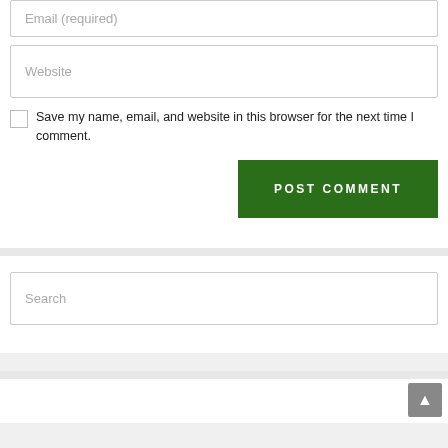Email (required)
Website
Save my name, email, and website in this browser for the next time I comment.
POST COMMENT
Search
▲